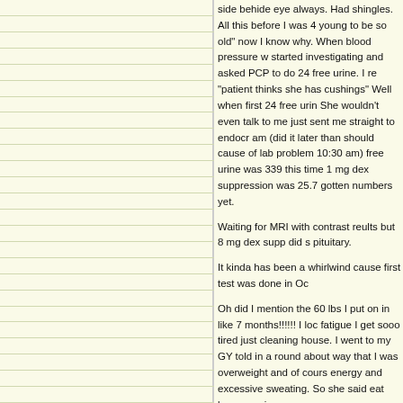side behide eye always. Had shingles. All this before I was 40. People said "too young to be so old" now I know why. When blood pressure went up I started investigating and asked PCP to do 24 free urine. I re "patient thinks she has cushings" Well when first 24 free urin She wouldn't even talk to me just sent me straight to endocr am (did it later than should cause of lab problem 10:30 am) free urine was 339 this time 1 mg dex suppression was 25.7 gotten numbers yet.

Waiting for MRI with contrast reults but 8 mg dex supp did s pituitary.

It kinda has been a whirlwind cause first test was done in Oc

Oh did I mention the 60 lbs I put on in like 7 months!!!!!! I loc fatigue I get sooo tired just cleaning house. I went to my GY told in a round about way that I was overweight and of cours energy and excessive sweating. So she said eat less exercis

I am in touch with Dr Jane at UVA in Charlottesville VA and a sees films etc he will schedule me for IPSS if needed and su

I am scared and excited. Scared about what lies ahead the n I may be "normal" again. Looking back at pictures from a few (something else I do more of lately) There are 2 different pe